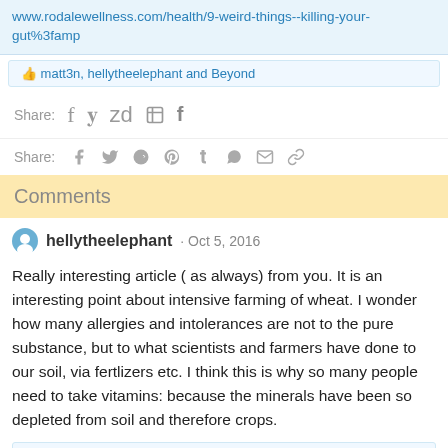www.rodalewellness.com/health/9-weird-things--killing-your-gut%3famp
👍 matt3n, hellytheelephant and Beyond
Share: f 𝕏 reddit P t WhatsApp mail link
Comments
hellytheelephant · Oct 5, 2016
Really interesting article ( as always) from you. It is an interesting point about intensive farming of wheat. I wonder how many allergies and intolerances are not to the pure substance, but to what scientists and farmers have done to our soil, via fertlizers etc. I think this is why so many people need to take vitamins: because the minerals have been so depleted from soil and therefore crops.
👍 matt3n and seunderwood
You must log in or register to reply here.